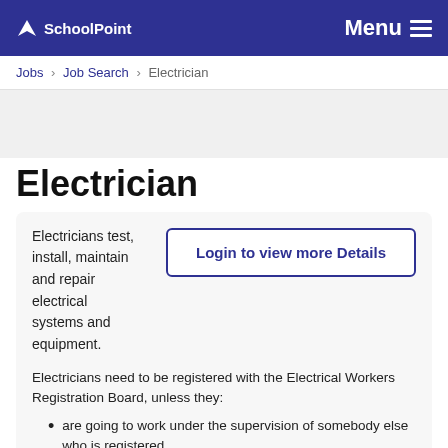SchoolPoint | Menu
Jobs › Job Search › Electrician
Electrician
Electricians test, install, maintain and repair electrical systems and equipment.
Login to view more Details
Electricians need to be registered with the Electrical Workers Registration Board, unless they:
are going to work under the supervision of somebody else who is registered